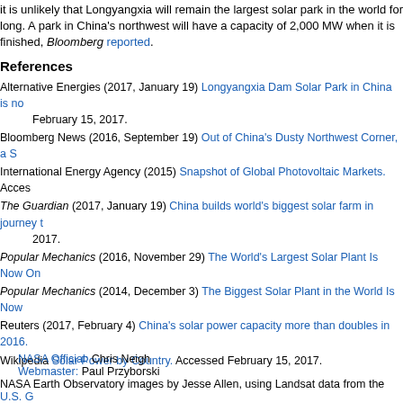it is unlikely that Longyangxia will remain the largest solar park in the world for long. A park in China's northwest will have a capacity of 2,000 MW when it is finished, Bloomberg reported.
References
Alternative Energies (2017, January 19) Longyangxia Dam Solar Park in China is no... February 15, 2017.
Bloomberg News (2016, September 19) Out of China's Dusty Northwest Corner, a S...
International Energy Agency (2015) Snapshot of Global Photovoltaic Markets. Acces...
The Guardian (2017, January 19) China builds world's biggest solar farm in journey t... 2017.
Popular Mechanics (2016, November 29) The World's Largest Solar Plant Is Now On...
Popular Mechanics (2014, December 3) The Biggest Solar Plant in the World Is Now...
Reuters (2017, February 4) China's solar power capacity more than doubles in 2016.
Wikipedia Solar Power by Country. Accessed February 15, 2017.
NASA Earth Observatory images by Jesse Allen, using Landsat data from the U.S. G...
This image record originally appeared on the Earth Observatory. Click here to view th...
NASA Official: Chris Neigh
Webmaster: Paul Przyborski